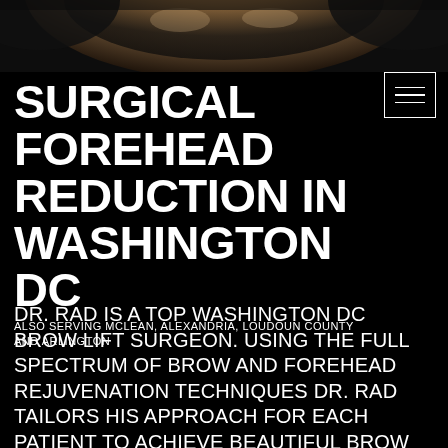[Figure (photo): Close-up photo of a person's forehead and skin — dark toned background portrait, upper portion of face visible against black background]
SURGICAL FOREHEAD REDUCTION IN WASHINGTON DC
ALSO SERVING MCLEAN, ALEXANDRIA, LOUDOUN COUNTY AND ARLINGTON
DR. RAD IS A TOP WASHINGTON DC BROW LIFT SURGEON. USING THE FULL SPECTRUM OF BROW AND FOREHEAD REJUVENATION TECHNIQUES DR. RAD TAILORS HIS APPROACH FOR EACH PATIENT TO ACHIEVE BEAUTIFUL BROW SHAPE AND TO BRIGHTEN THE EYES. SURGICAL FOREHEAD SHORTENING IS A POPULAR PROCEDURE FOR PATIENTS WHO HAVE RECEDED HAIRLINES OR LARGE FOREHEADS AND